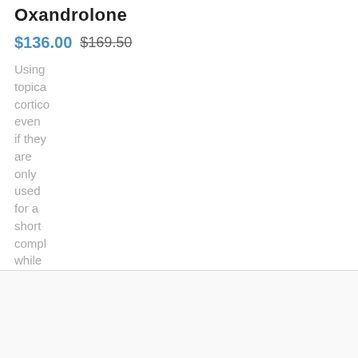Oxandrolone
$136.00  $169.50
Using topica cortico even if they are only used for a short compl while
[Figure (logo): Bayer logo - circular logo with green and blue arc, containing stylized 'B' and 'A' letters in dark gray]
prev  next